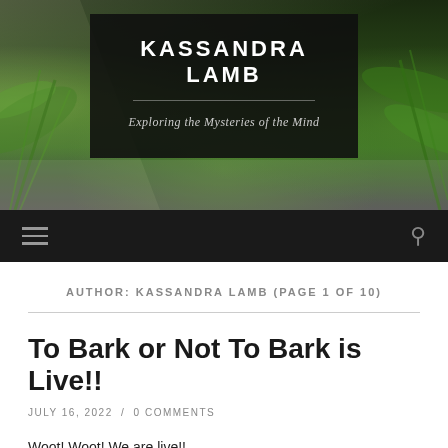[Figure (screenshot): Blog website header with dark overlay title box on jungle/foliage background. Site title KASSANDRA LAMB with tagline 'Exploring the Mysteries of the Mind'.]
KASSANDRA LAMB
Exploring the Mysteries of the Mind
AUTHOR: KASSANDRA LAMB (PAGE 1 OF 10)
To Bark or Not To Bark is Live!!
JULY 16, 2022 / 0 COMMENTS
Woot! Woot! We are live!!